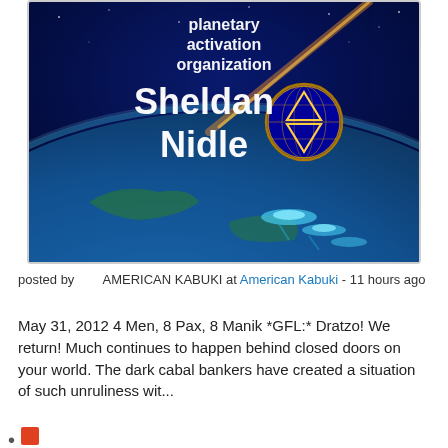[Figure (illustration): Promotional image for Sheldan Nidle / Planetary Activation Organization showing Earth from space with UFOs and a Star of David globe symbol. Text on image: 'planetary activation organization Sheldan Nidle']
posted by      AMERICAN KABUKI at American Kabuki - 11 hours ago
May 31, 2012 4 Men, 8 Pax, 8 Manik *GFL:* Dratzo! We return! Much continues to happen behind closed doors on your world. The dark cabal bankers have created a situation of such unruliness wit...
Artur Davis, Always The Skin-Crawling Opportunist, Makes It Official: He's Gone From...